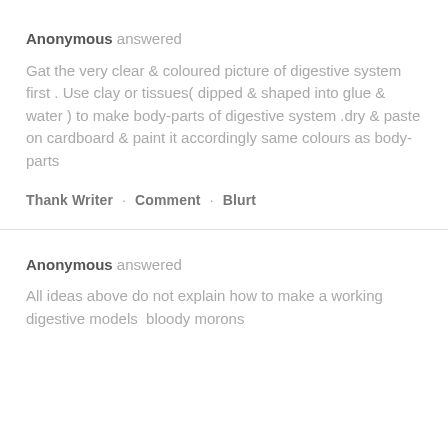Anonymous answered
Gat the very clear & coloured picture of digestive system first . Use clay or tissues( dipped & shaped into glue & water ) to make body-parts of digestive system .dry & paste on cardboard & paint it accordingly same colours as body-parts
Thank Writer · Comment · Blurt
Anonymous answered
All ideas above do not explain how to make a working digestive models  bloody morons